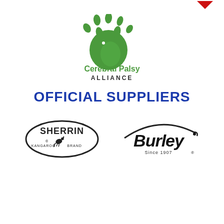[Figure (logo): Small red downward-pointing chevron/triangle logo in top right corner]
[Figure (logo): Cerebral Palsy Alliance logo: green kangaroo paw print icon above green and dark text 'Cerebral Palsy ALLIANCE']
OFFICIAL SUPPLIERS
[Figure (logo): Sherrin Kangaroo Brand logo in black oval with kangaroo graphic]
[Figure (logo): Burley Since 1907 logo in bold black italic text with swoosh]